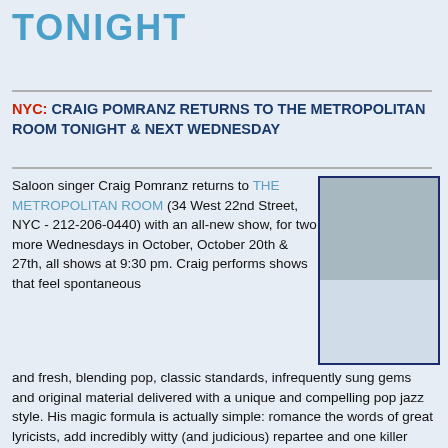TONIGHT
NYC: CRAIG POMRANZ RETURNS TO THE METROPOLITAN ROOM TONIGHT & NEXT WEDNESDAY
Saloon singer Craig Pomranz returns to THE METROPOLITAN ROOM (34 West 22nd Street, NYC - 212-206-0440) with an all-new show, for two more Wednesdays in October, October 20th & 27th, all shows at 9:30 pm. Craig performs shows that feel spontaneous and fresh, blending pop, classic standards, infrequently sung gems and original material delivered with a unique and compelling pop jazz style. His magic formula is actually simple: romance the words of great lyricists, add incredibly witty (and judicious) repartee and one killer accompanist in the versatile Stephen Bocchino. There is a $20 cover plus a
[Figure (photo): Aerial or elevated photo of an outdoor venue or urban area, partially loaded/placeholder]